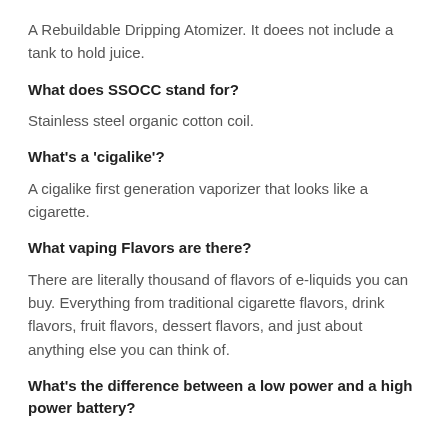A Rebuildable Dripping Atomizer. It doees not include a tank to hold juice.
What does SSOCC stand for?
Stainless steel organic cotton coil.
What's a 'cigalike'?
A cigalike first generation vaporizer that looks like a cigarette.
What vaping Flavors are there?
There are literally thousand of flavors of e-liquids you can buy. Everything from traditional cigarette flavors, drink flavors, fruit flavors, dessert flavors, and just about anything else you can think of.
What's the difference between a low power and a high power battery?